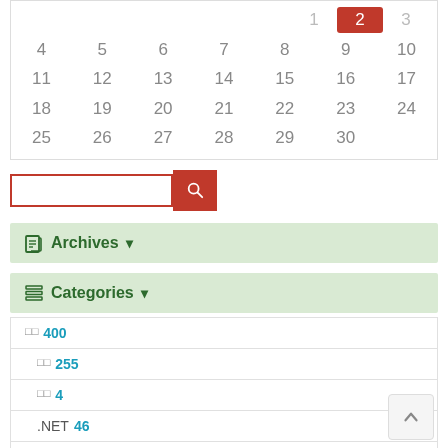| 4 | 5 | 6 | 7 | 8 | 9 | 10 |
| 11 | 12 | 13 | 14 | 15 | 16 | 17 |
| 18 | 19 | 20 | 21 | 22 | 23 | 24 |
| 25 | 26 | 27 | 28 | 29 | 30 |  |
[Figure (screenshot): Search bar with red border and red search button with magnifier icon]
Archives ▾
Categories ▾
□□ 400
□□ 255
□□ 4
.NET 46
C# 32
VB.NET 4
ASP.NET 9
DataBase 10